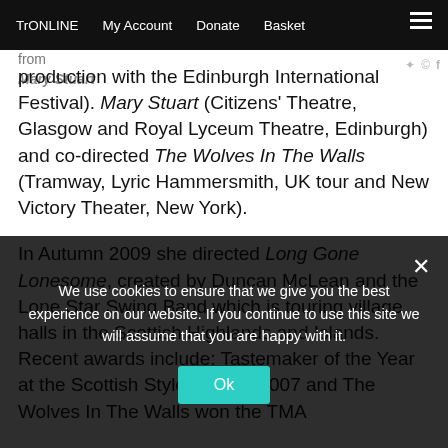TrONLINE | My Account | Donate | Basket
production with the Edinburgh International Festival). Mary Stuart (Citizens' Theatre, Glasgow and Royal Lyceum Theatre, Edinburgh) and co-directed The Wolves In The Walls (Tramway, Lyric Hammersmith, UK tour and New Victory Theater, New York).
In Autumn 2009 she directed Long Gone Lonesome, created by Duncan McLean and the Lone Star Swing Band which is touring village halls in the Scottish Highlands and Islands. Recent awards include: Tastemaker of the Year at the Scottish Style Awards 2007 and The Wolves In The Walls won the TMA
We use cookies to ensure that we give you the best experience on our website. If you continue to use this site we will assume that you are happy with it.